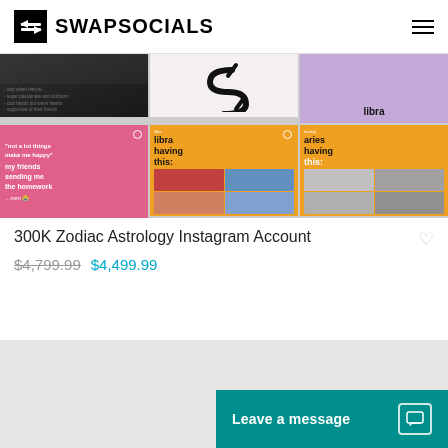SWAPSOCIALS
[Figure (photo): Grid of 6 Instagram post thumbnails for a zodiac astrology account. Top row: dark lifestyle image with bullet text, black/white abstract S-shape, lavender image with 'libra' text. Bottom row: pink background quote image, orange 'libra having this:' collage, orange 'aries having this:' collage.]
300K Zodiac Astrology Instagram Account
$4,799.99 $4,499.99
[Figure (screenshot): Bottom section showing a gray panel and a teal 'Leave a message' chat button in the lower right.]